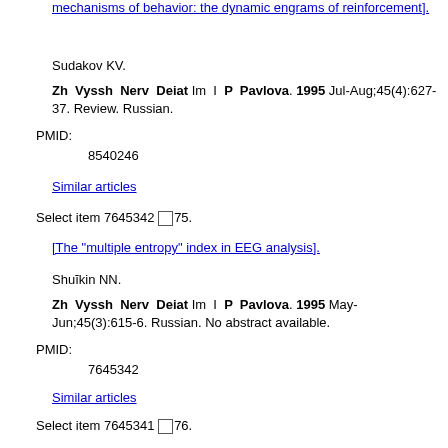[mechanisms of behavior: the dynamic engrams of reinforcement].
Sudakov KV.
Zh Vyssh Nerv Deiat Im I P Pavlova. 1995 Jul-Aug;45(4):627-37. Review. Russian.
PMID: 8540246
Similar articles
Select item 7645342 □ 75.
[The "multiple entropy" index in EEG analysis].
Shuĭkin NN.
Zh Vyssh Nerv Deiat Im I P Pavlova. 1995 May-Jun;45(3):615-6. Russian. No abstract available.
PMID: 7645342
Similar articles
Select item 7645341 □ 76.
[Asratian's antishock solution].